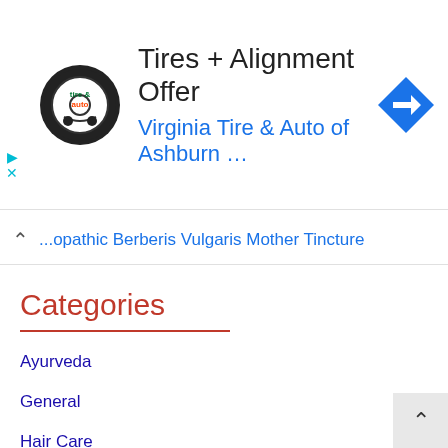[Figure (screenshot): Advertisement banner for Virginia Tire & Auto of Ashburn with logo, title 'Tires + Alignment Offer', blue subtitle, and blue diamond arrow icon]
Homeopathic Berberis Vulgaris Mother Tincture
Categories
Ayurveda
General
Hair Care
Health
Health-Tips
Herbs